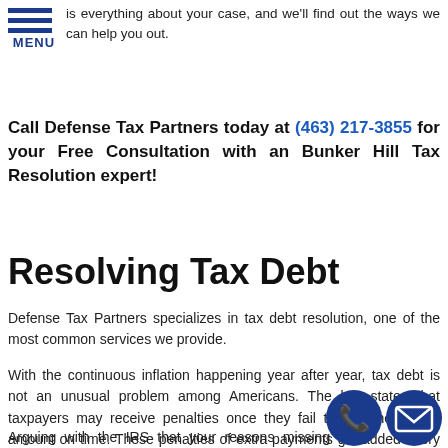is everything about your case, and we'll find out the ways we can help you out.
Call Defense Tax Partners today at (463) 217-3855 for your Free Consultation with an Bunker Hill Tax Resolution expert!
Resolving Tax Debt
Defense Tax Partners specializes in tax debt resolution, one of the most common services we provide.
With the continuous inflation happening year after year, tax debt is not an unusual problem among Americans. The law states that taxpayers may receive penalties once they fail to pay the proper amount on time. These penalties of extra payments get added every month the taxpayer fails to pay properly, making fixing the money problem harder as time goes on.
Arguing with the IRS that your reasons missing the payment deadlines are valid is a doable solution with the